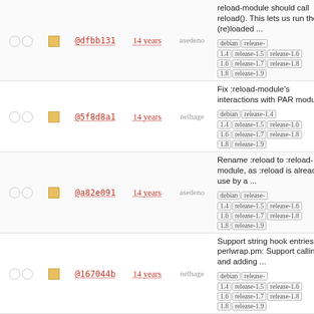|  |  |  | Hash | Age | Author | Message |
| --- | --- | --- | --- | --- | --- | --- |
| ○ ○ | ■ | @dfbb131 | 14 years | asedeno | reload-module should call reload(). This lets us run the (re)loaded ... debian release-1.4 release-1.5 release-1.6 release-1.7 release-1.8 release-1.9 |
| ○ ○ | ■ | @5f8d8a1 | 14 years | nelhage | Fix :reload-module's interactions with PAR modules. debian release-1.4 release-1.5 release-1.6 release-1.7 release-1.8 release-1.9 |
| ○ ○ | ■ | @a82e091 | 14 years | asedeno | Rename :reload to :reload-module, as :reload is already in use by a ... debian release-1.4 release-1.5 release-1.6 release-1.7 release-1.8 release-1.9 |
| ○ ○ | ■ | @167044b | 14 years | nelhage | Support string hook entries. perlwrap.pm: Support calling and adding ... debian release-1.4 release-1.5 release-1.6 release-1.7 release-1.8 release-1.9 |
| ○ ○ | ■ | @5987370 | 14 years | nelhage | ModuleLoader.pm: Add a :reload command which reloads a single module debian release-1.4 release-1.5 release-1.6 release-1.7 release-1.8 release-1.9 |
| ○ ○ | ■ | @965e14d | 14 years | nelhage | Generate less ugly error spew if a module fails to load barnowl_perlaiml debian release-1.4 release-1.6 release-1.7 release-... |